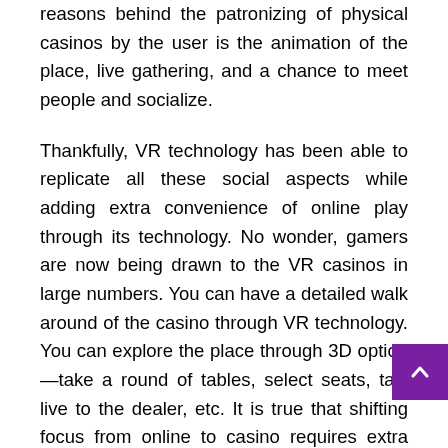reasons behind the patronizing of physical casinos by the user is the animation of the place, live gathering, and a chance to meet people and socialize.
Thankfully, VR technology has been able to replicate all these social aspects while adding extra convenience of online play through its technology. No wonder, gamers are now being drawn to the VR casinos in large numbers. You can have a detailed walk around of the casino through VR technology. You can explore the place through 3D option—take a round of tables, select seats, talk live to the dealer, etc. It is true that shifting focus from online to casino requires extra investment and